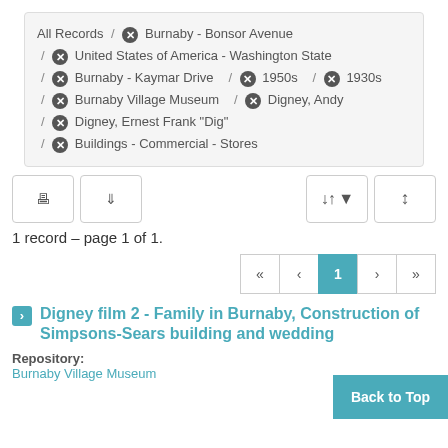All Records / ⊗ Burnaby - Bonsor Avenue / ⊗ United States of America - Washington State / ⊗ Burnaby - Kaymar Drive / ⊗ 1950s / ⊗ 1930s / ⊗ Burnaby Village Museum / ⊗ Digney, Andy / ⊗ Digney, Ernest Frank "Dig" / ⊗ Buildings - Commercial - Stores
1 record – page 1 of 1.
1
Digney film 2 - Family in Burnaby, Construction of Simpsons-Sears building and wedding
Repository:
Burnaby Village Museum
Back to Top